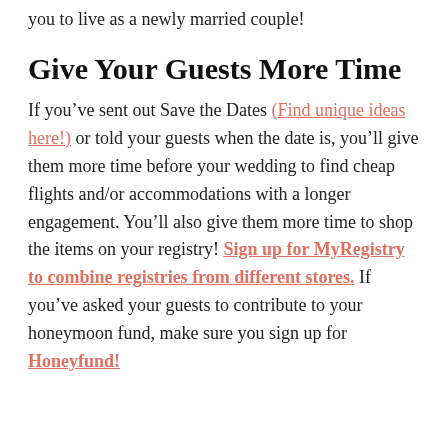you to live as a newly married couple!
Give Your Guests More Time
If you’ve sent out Save the Dates (Find unique ideas here!) or told your guests when the date is, you’ll give them more time before your wedding to find cheap flights and/or accommodations with a longer engagement. You’ll also give them more time to shop the items on your registry! Sign up for MyRegistry to combine registries from different stores. If you’ve asked your guests to contribute to your honeymoon fund, make sure you sign up for Honeyfund!